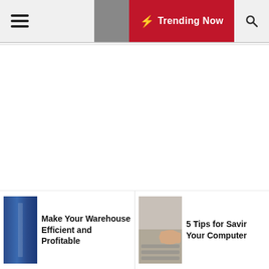Navigation bar with hamburger menu, moon/dark mode toggle, Trending Now button, and search icon
[Figure (screenshot): Large empty white content area below the navigation bar]
Make Your Warehouse Efficient and Profitable
5 Tips for Saving Your Computer